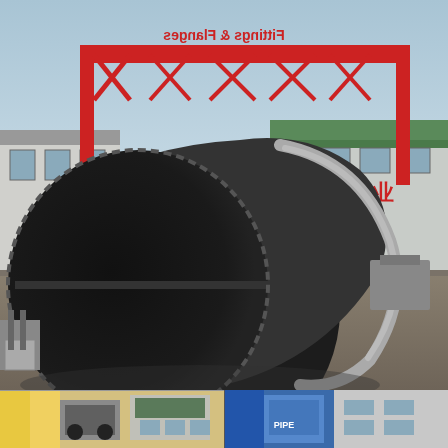[Figure (photo): Large industrial steel pipe elbow or cap fitting being lifted by a forklift in a factory yard. The fitting is very large diameter, dark-painted carbon steel. In the background is a red gantry crane with text 'Fittings & Flanges' mirrored/reflected, a warehouse building with Chinese characters '金盛管业' (Jinsheng Pipeline), and various industrial equipment. The ground is unpaved dirt/gravel.]
[Figure (photo): Bottom strip showing partial view of two additional industrial facility or product photos, partially cropped at bottom of page.]